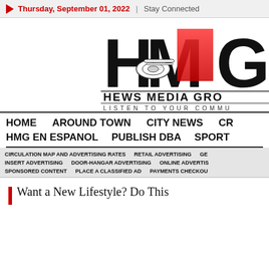Thursday, September 01, 2022 | Stay Connected
[Figure (logo): Hews Media Group logo — large letters HMG with a rolled newspaper and red triangle/diamond accent, text HEWS MEDIA GROUP and tagline LISTEN TO YOUR COMMUNITY]
HOME  AROUND TOWN  CITY NEWS  CR...  HMG EN ESPANOL  PUBLISH DBA  SPORT...
CIRCULATION MAP AND ADVERTISING RATES  RETAIL ADVERTISING  GE...  INSERT ADVERTISING  DOOR-HANGAR ADVERTISING  ONLINE ADVERTIS...  SPONSORED CONTENT  PLACE A CLASSIFIED AD  PAYMENTS CHECKOU...
Want a New Lifestyle? Do This